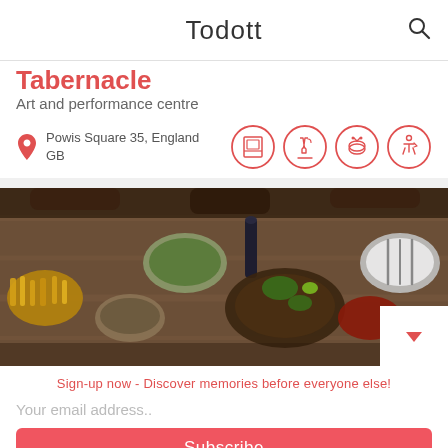Todott
Tabernacle
Art and performance centre
Powis Square 35, England GB
[Figure (illustration): Four red circle icons: art/painting, wine/drinks, music/drums, accessibility/service]
[Figure (photo): Overhead view of a wooden dining table covered with many dishes of food including salads, grilled meats, fries, sauces, and beverages]
Sign-up now - Discover memories before everyone else!
Your email address..
Subscribe